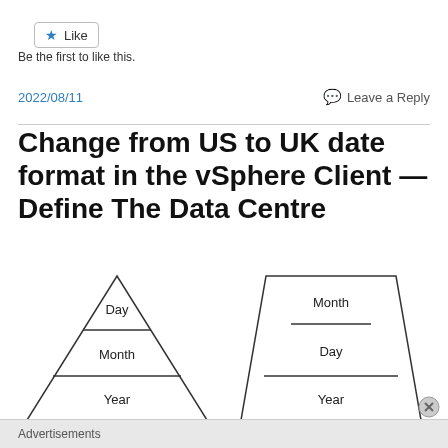[Figure (illustration): A Like button with a blue star icon]
Be the first to like this.
2022/08/11
Leave a Reply
Change from US to UK date format in the vSphere Client — Define The Data Centre
[Figure (illustration): Two pyramidal diagrams side by side. Left: a triangle divided into three sections labeled Day (top), Month (middle), Year (bottom). Right: a trapezoid-based pyramid with Month at top (wide flat top), Day in middle, Year at bottom.]
Advertisements